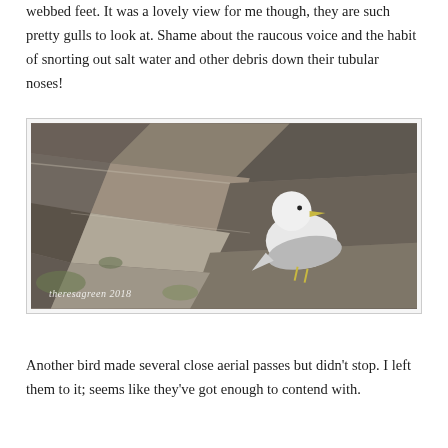webbed feet. It was a lovely view for me though, they are such pretty gulls to look at. Shame about the raucous voice and the habit of snorting out salt water and other debris down their tubular noses!
[Figure (photo): A fulmar (seabird) perched on a rocky cliff face covered in lichen and moss. The bird is white-headed with grey wings and body. Watermark reads 'theresagreen 2018' in white italic text at bottom left.]
Another bird made several close aerial passes but didn't stop. I left them to it; seems like they've got enough to contend with.